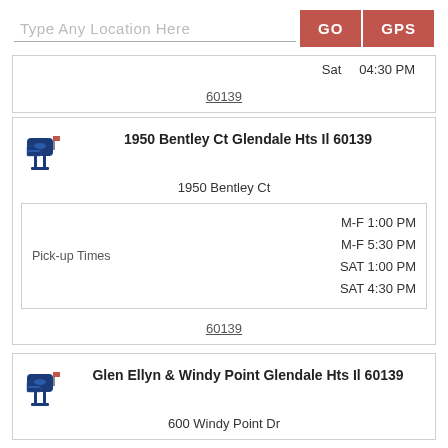Type Any Location Here
GO  GPS
Sat  04:30 PM
60139
1950 Bentley Ct Glendale Hts Il 60139
1950 Bentley Ct
Pick-up Times  M-F 1:00 PM  M-F 5:30 PM  SAT 1:00 PM  SAT 4:30 PM
60139
Glen Ellyn & Windy Point Glendale Hts Il 60139
600 Windy Point Dr